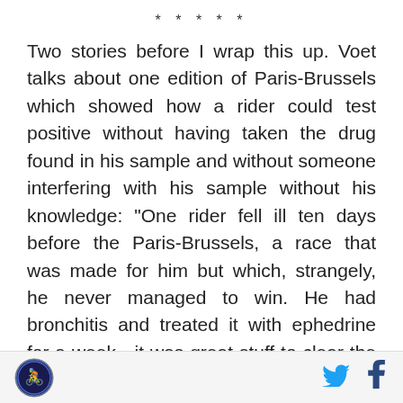* * * * *
Two stories before I wrap this up. Voet talks about one edition of Paris-Brussels which showed how a rider could test positive without having taken the drug found in his sample and without someone interfering with his sample without his knowledge: "One rider fell ill ten days before the Paris-Brussels, a race that was made for him but which, strangely, he never managed to win. He had bronchitis and treated it with ephedrine for a week - it was great stuff to clear the tubes, but had the downside that it would show up at a drug test. He stopped the course three days before the race because he didn't want to run any risks, even though the controls weren't as well run as they are now.
[Figure (logo): Cycling news website logo - circular emblem with cyclist figure]
[Figure (logo): Twitter bird icon in blue]
[Figure (logo): Facebook f icon in blue]